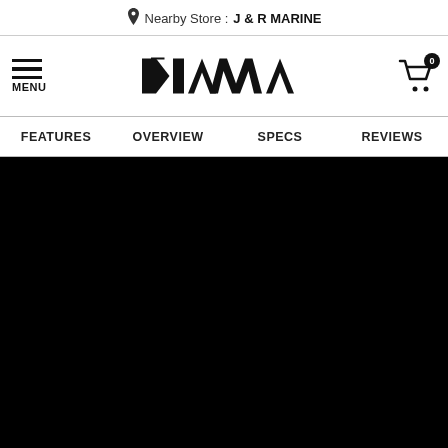Nearby Store : J & R MARINE
[Figure (logo): Daiwa brand logo in stylized bold black text with hamburger menu icon on left and shopping cart icon with 0 badge on right]
FEATURES   OVERVIEW   SPECS   REVIEWS
[Figure (photo): Large black/dark background area, appears to be a product image area that is not loaded or is very dark]